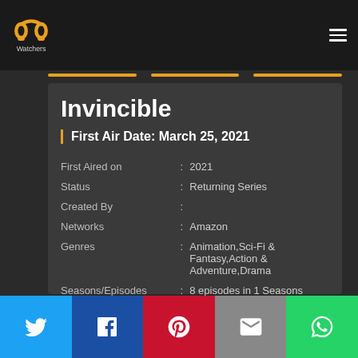PP Watchers — navigation header with logo and hamburger menu
Invincible
First Air Date: March 25, 2021
|  | : |  |
| --- | --- | --- |
| First Aired on | : | 2021 |
| Status | : | Returning Series |
| Created By | : |  |
| Networks | : | Amazon |
| Genres | : | Animation,Sci-Fi & Fantasy,Action & Adventure,Drama |
| Seasons/Episodes | : | 8 episodes in 1 Seasons |
Social sharing bar: Twitter, Facebook, Pinterest, Email, WhatsApp